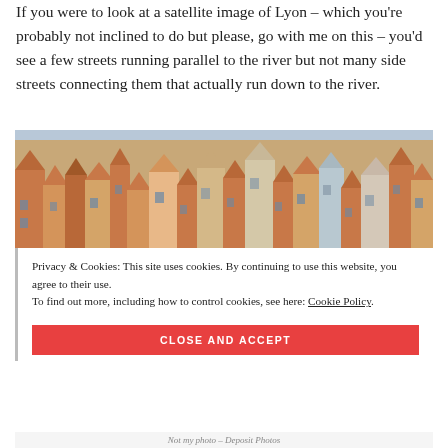If you were to look at a satellite image of Lyon – which you're probably not inclined to do but please, go with me on this – you'd see a few streets running parallel to the river but not many side streets connecting them that actually run down to the river.
[Figure (photo): Aerial/rooftop view of Lyon, France showing dense urban architecture with terracotta rooftops and multi-storey buildings]
Privacy & Cookies: This site uses cookies. By continuing to use this website, you agree to their use. To find out more, including how to control cookies, see here: Cookie Policy
Not my photo – Deposit Photos